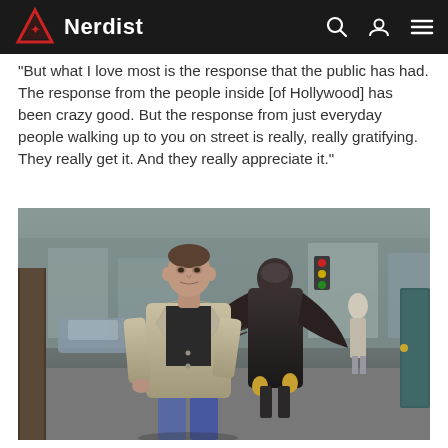Nerdist
“But what I love most is the response that the public has had. The response from the people inside [of Hollywood] has been crazy good. But the response from just everyday people walking up to you on street is really, really gratifying. They really get it. And they really appreciate it.”
[Figure (photo): A man in a beige trench coat and black shirt walks on a city sidewalk, with a figure in a black Birdman superhero costume following closely behind. Urban street scene with parked cars and other pedestrians visible in the background.]